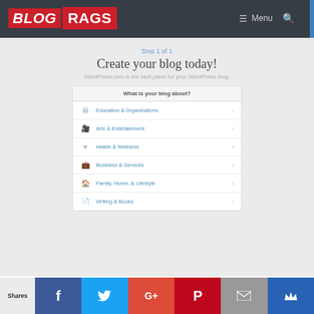[Figure (logo): BlogRags logo - BLOG in red italic bold, RAGS in red bold box]
≡ Menu 🔍
Step 1 of 1
Create your blog today!
WordPress.com is the best place for your WordPress blog.
| What is your blog about? |
| --- |
| Education & Organizations |
| Arts & Entertainment |
| Health & Wellness |
| Business & Services |
| Family, Home, & Lifestyle |
| Writing & Books |
Shares | Facebook | Twitter | Google+ | Pinterest | Email | Crown